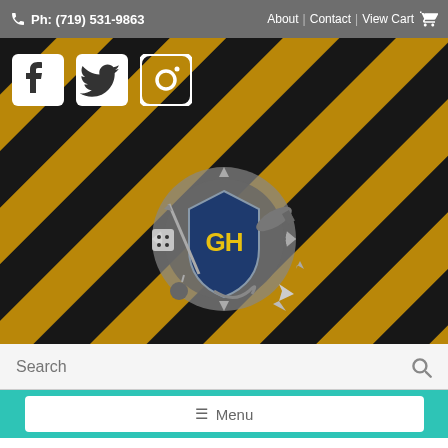Ph: (719) 531-9863
About | Contact | View Cart
[Figure (screenshot): Website header with yellow and black diagonal stripes background, social media icons (Facebook, Twitter, Instagram), and a game store logo with 'GH' shield emblem surrounded by gaming items]
Search
☰ Menu